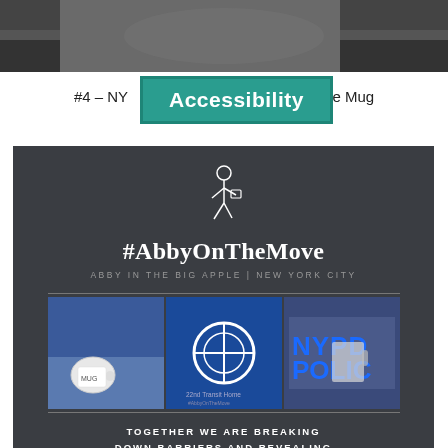[Figure (photo): Top partial photo of a dark object, cropped at top]
Accessibility
#4 – NY ... ail Style Mug
[Figure (screenshot): Dark blog card for #AbbyOnTheMove showing logo, title, NYC subtitle, three photos of mugs and NYPD signage, and tagline TOGETHER WE ARE BREAKING DOWN BARRIERS AND REVEALING COMMON GROUND!]
#5
York
Thank you for visiting. You can now buy us a coffee!
Manage Cookie Consent
✕